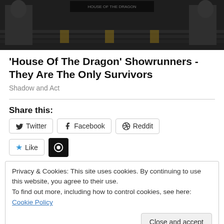[Figure (photo): Dark cinematic photo showing armored figures on steps, appears to be from a fantasy TV show]
'House Of The Dragon' Showrunners - They Are The Only Survivors
Shadow and Act
Share this:
Twitter  Facebook  Reddit
Like  [WordPress icon]
Privacy & Cookies: This site uses cookies. By continuing to use this website, you agree to their use.
To find out more, including how to control cookies, see here: Cookie Policy
Close and accept
November 10, 2013